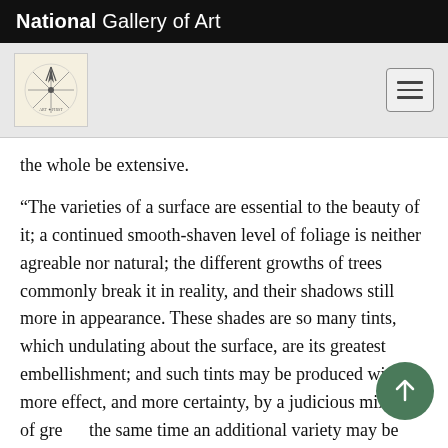National Gallery of Art
[Figure (logo): Navigation bar with art-related logo on left and hamburger menu button on right, on light gray background]
the whole be extensive.
“The varieties of a surface are essential to the beauty of it; a continued smooth-shaven level of foliage is neither agreable nor natural; the different growths of trees commonly break it in reality, and their shadows still more in appearance. These shades are so many tints, which undulating about the surface, are its greatest embellishment; and such tints may be produced with more effect, and more certainty, by a judicious mixture of gre[en;] the same time an additional variety may be [introduced by int]ro[ducing contrastin]g